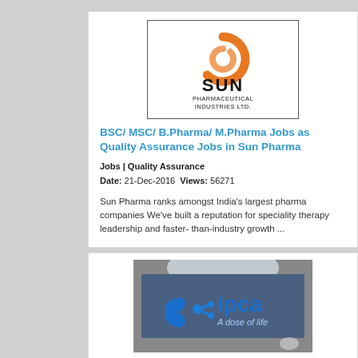[Figure (logo): Sun Pharmaceutical Industries Ltd. logo — orange spiral symbol with SUN text and PHARMACEUTICAL INDUSTRIES LTD. below]
BSC/ MSC/ B.Pharma/ M.Pharma Jobs as Quality Assurance Jobs in Sun Pharma
Jobs | Quality Assurance
Date: 21-Dec-2016  Views: 56271
Sun Pharma ranks amongst India's largest pharma companies We've built a reputation for speciality therapy leadership and faster- than-industry growth ...
[Figure (photo): IPCA Laboratories logo — blue butterfly/molecule icon with 'ipca A dose of life' illuminated sign on wall]
Walk-in-interview for B.Pha...